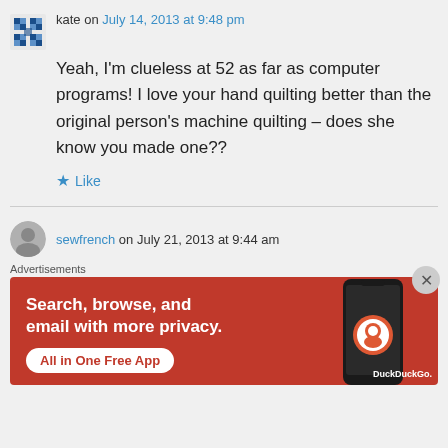kate on July 14, 2013 at 9:48 pm
Yeah, I'm clueless at 52 as far as computer programs! I love your hand quilting better than the original person's machine quilting – does she know you made one??
Like
sewfrench on July 21, 2013 at 9:44 am
Advertisements
[Figure (infographic): DuckDuckGo advertisement banner: orange/red background with text 'Search, browse, and email with more privacy. All in One Free App' and a phone image with DuckDuckGo logo]